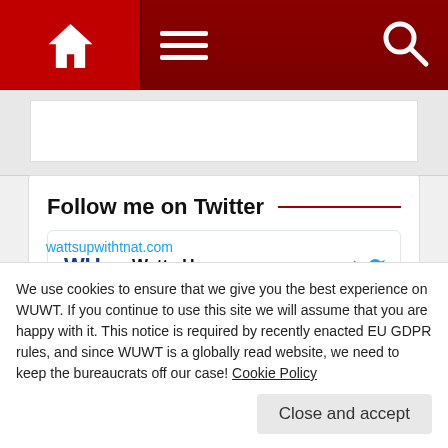Navigation bar with home icon, menu icon, search icon
Follow me on Twitter
[Figure (screenshot): Twitter/X embedded widget showing Watts Up... @w... · 42m tweet: 'A Serious Question wattsupwiththat.com/2022/09/05/a-s...']
We use cookies to ensure that we give you the best experience on WUWT. If you continue to use this site we will assume that you are happy with it. This notice is required by recently enacted EU GDPR rules, and since WUWT is a globally read website, we need to keep the bureaucrats off our case! Cookie Policy
Close and accept